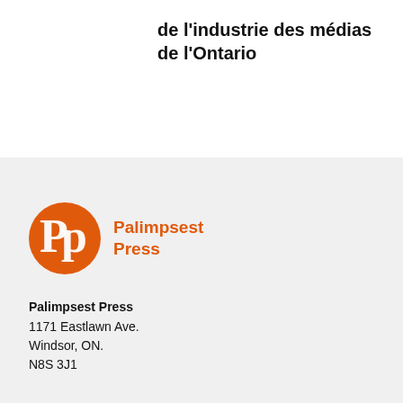Société de développement de l'industrie des médias de l'Ontario
[Figure (logo): Palimpsest Press logo: orange circle with white 'Pp' letters, followed by orange text 'Palimpsest Press']
Palimpsest Press
1171 Eastlawn Ave.
Windsor, ON.
N8S 3J1